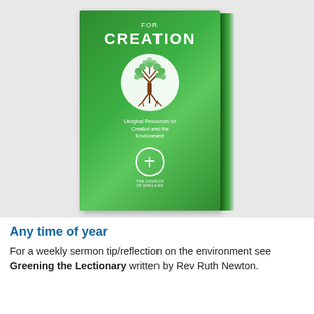[Figure (photo): A green book cover titled 'Time for Creation' with a tree-of-life illustration in a circle, subtitle 'Liturgical Resources for Creation and the Environment', and a church cross logo at the bottom. The book is shown in 3D perspective with visible spine and pages.]
Any time of year
For a weekly sermon tip/reflection on the environment see Greening the Lectionary written by Rev Ruth Newton.